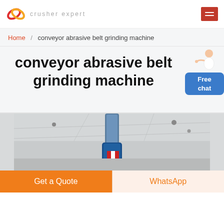crusher expert
Home / conveyor abrasive belt grinding machine
conveyor abrasive belt grinding machine
[Figure (photo): Industrial machinery photo showing a conveyor belt grinding machine in a factory setting, with metallic components visible against a ceiling backdrop]
Get a Quote
WhatsApp